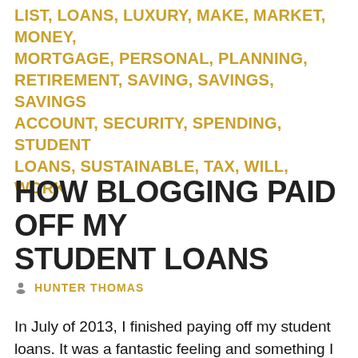LIST, LOANS, LUXURY, MAKE, MARKET, MONEY, MORTGAGE, PERSONAL, PLANNING, RETIREMENT, SAVING, SAVINGS, SAVINGS ACCOUNT, SECURITY, SPENDING, STUDENT LOANS, SUSTAINABLE, TAX, WILL, WORK
HOW BLOGGING PAID OFF MY STUDENT LOANS
HUNTER THOMAS
In July of 2013, I finished paying off my student loans. It was a fantastic feeling and something I still think about to this day. Even though I have a